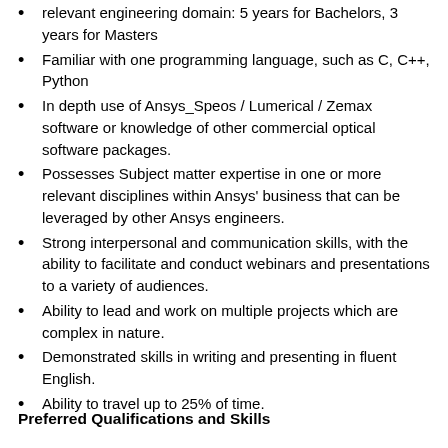relevant engineering domain: 5 years for Bachelors, 3 years for Masters
Familiar with one programming language, such as C, C++, Python
In depth use of Ansys_Speos / Lumerical / Zemax software or knowledge of other commercial optical software packages.
Possesses Subject matter expertise in one or more relevant disciplines within Ansys' business that can be leveraged by other Ansys engineers.
Strong interpersonal and communication skills, with the ability to facilitate and conduct webinars and presentations to a variety of audiences.
Ability to lead and work on multiple projects which are complex in nature.
Demonstrated skills in writing and presenting in fluent English.
Ability to travel up to 25% of time.
Preferred Qualifications and Skills